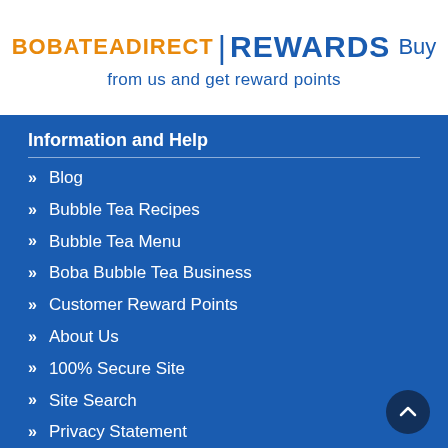BOBATEADIRECT | REWARDS Buy from us and get reward points
Information and Help
Blog
Bubble Tea Recipes
Bubble Tea Menu
Boba Bubble Tea Business
Customer Reward Points
About Us
100% Secure Site
Site Search
Privacy Statement
Terms and Conditions